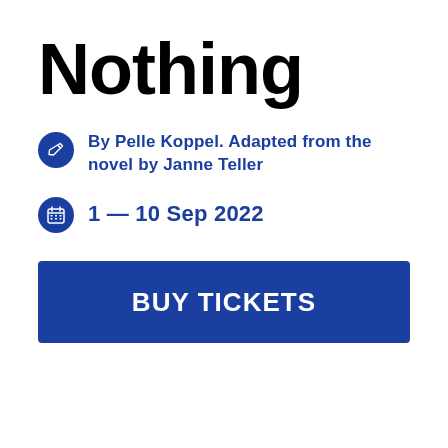Nothing
By Pelle Koppel. Adapted from the novel by Janne Teller
1 — 10 Sep 2022
BUY TICKETS